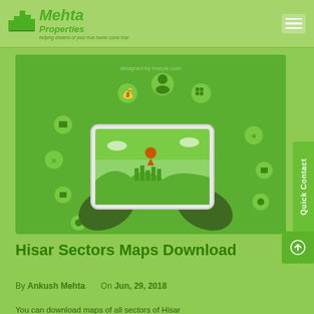[Figure (logo): Mehta Properties logo with building icon, green text reading 'Mehta Properties' and tagline 'helping dreams of your true home come true']
[Figure (illustration): Illustration of hands holding a tablet/phone displaying a map with location pin, surrounded by floating icons for real estate services on a green background]
Hisar Sectors Maps Download
By Ankush Mehta   On Jun, 29, 2018
You can download maps of all sectors of Hisar